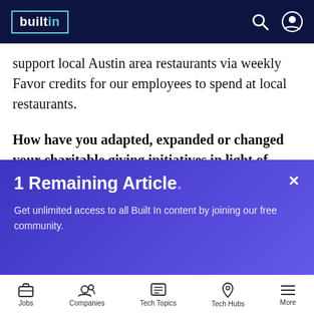builtin
support local Austin area restaurants via weekly Favor credits for our employees to spend at local restaurants.
How have you adapted, expanded or changed your charitable giving initiatives in light of recent events?
1 Remaining Article. Get unlimited access to all Built In content by joining our free community.
Jobs  Companies  Tech Topics  Tech Hubs  More